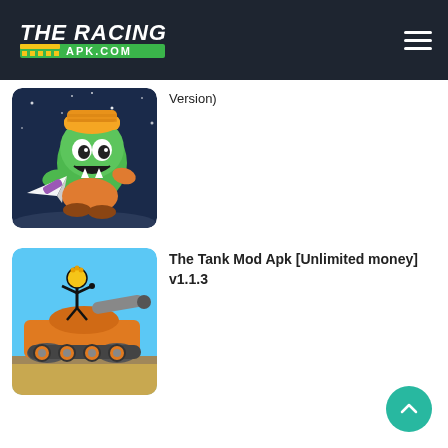The Racing APK.com
Version)
[Figure (illustration): Green cartoon character wearing an orange beanie hat, holding a paper airplane rocket, against a dark blue starry background.]
The Tank Mod Apk [Unlimited money] v1.1.3
[Figure (illustration): Stick figure character standing on an orange tank with a large cannon, against a blue sky background with ground terrain.]